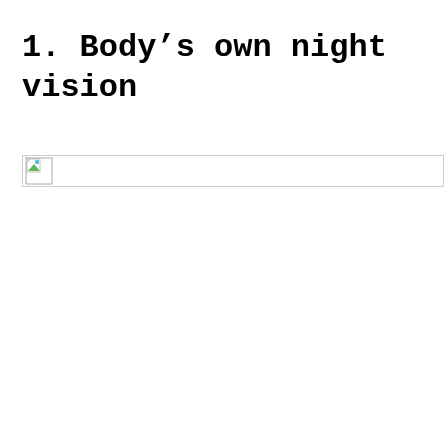1. Body's own night vision
[Figure (photo): A broken/missing image placeholder with a small thumbnail icon on the left side, spanning the width of the content area.]